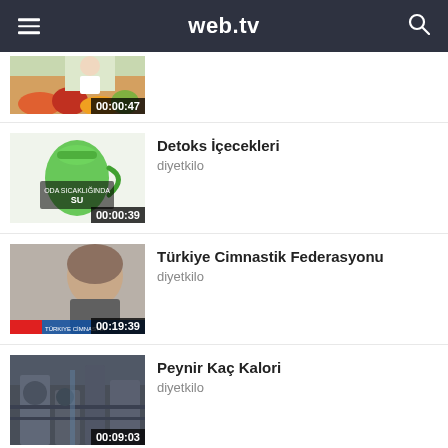web.tv
[Figure (screenshot): Partially visible video thumbnail showing a person and fruits with duration 00:00:47]
[Figure (screenshot): Video thumbnail showing a green pitcher/jug with text SU and duration 00:00:39]
Detoks İçecekleri
diyetkilo
[Figure (screenshot): Video thumbnail showing a man's face with duration 00:19:39]
Türkiye Cimnastik Federasyonu
diyetkilo
[Figure (screenshot): Video thumbnail showing industrial machinery with duration 00:09:03]
Peynir Kaç Kalori
diyetkilo
© 2020 Web.tv, All rights reserved.